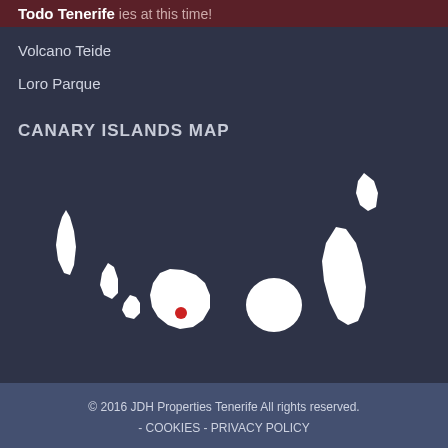Todo Tenerife  ies at this time!
Volcano Teide
Loro Parque
CANARY ISLANDS MAP
[Figure (map): Map of the Canary Islands showing white silhouettes of the islands on a dark background. A red dot marks a location on Tenerife island.]
© 2016 JDH Properties Tenerife All rights reserved. - COOKIES - PRIVACY POLICY